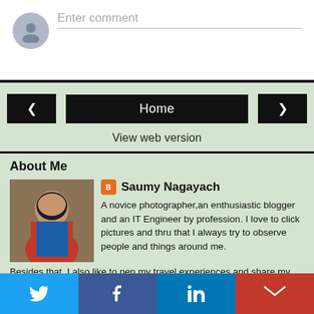Enter comment
Home
View web version
About Me
[Figure (photo): Portrait photo of Saumy Nagayach, a young man wearing a red jacket]
Saumy Nagayach
A novice photographer,an enthusiastic blogger and an IT Engineer by profession. I love to click pictures and thru that I always try to observe people and things around me. Besides that, I also like to pen my travel experiences and share my pictures with perspective theory. Also, when in bad mood, I love to write poems to distract my mind. I do feel that sadness brings out the creativity in me.
[Figure (infographic): Social media share bar with Twitter, Facebook, LinkedIn, and Gmail buttons]